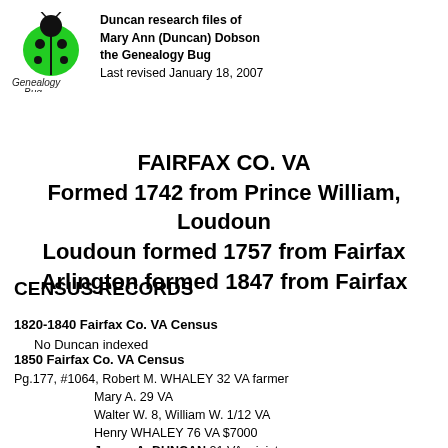Duncan research files of Mary Ann (Duncan) Dobson the Genealogy Bug
Last revised January 18, 2007
FAIRFAX CO. VA
Formed 1742 from Prince William, Loudoun
Loudoun formed 1757 from Fairfax
Arlington formed 1847 from Fairfax
CENSUS RECORDS
1820-1840 Fairfax Co. VA Census
No Duncan indexed
1850 Fairfax Co. VA Census
Pg.177, #1064, Robert M. WHALEY 32 VA farmer
    Mary A. 29 VA
    Walter W. 8, William W. 1/12 VA
    Henry WHALEY 76 VA $7000
    James A. DUNCAN 21 VA minister